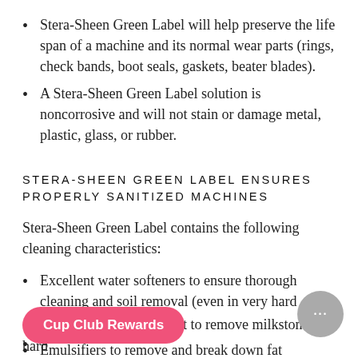Stera-Sheen Green Label will help preserve the life span of a machine and its normal wear parts (rings, check bands, boot seals, gaskets, beater blades).
A Stera-Sheen Green Label solution is noncorrosive and will not stain or damage metal, plastic, glass, or rubber.
STERA-SHEEN GREEN LABEL ENSURES PROPERLY SANITIZED MACHINES
Stera-Sheen Green Label contains the following cleaning characteristics:
Excellent water softeners to ensure thorough cleaning and soil removal (even in very hard water).
Emulsifiers to remove and break down fat particles.
A sequestering agent to remove milkstone and hard